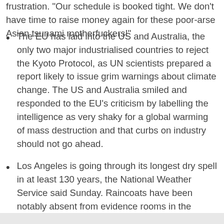frustration. "Our schedule is booked tight. We don't have time to raise money again for these poor-arse Asian tsunami motherfuckers!"
The EU has laid into the US and Australia, the only two major industrialised countries to reject the Kyoto Protocol, as UN scientists prepared a report likely to issue grim warnings about climate change. The US and Australia smiled and responded to the EU's criticism by labelling the intelligence as very shaky for a global warming of mass destruction and that curbs on industry should not go ahead.
Los Angeles is going through its longest dry spell in at least 130 years, the National Weather Service said Sunday. Raincoats have been notably absent from evidence rooms in the aftermath of recent gang battles.